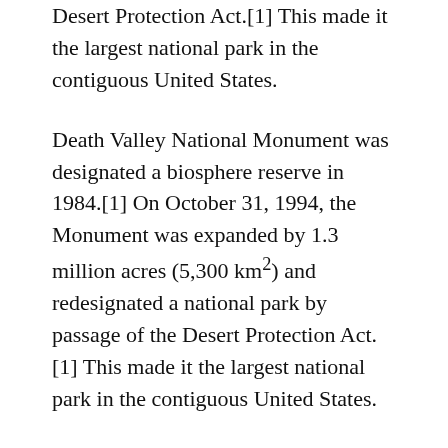Desert Protection Act.[1] This made it the largest national park in the contiguous United States.
Death Valley National Monument was designated a biosphere reserve in 1984.[1] On October 31, 1994, the Monument was expanded by 1.3 million acres (5,300 km²) and redesignated a national park by passage of the Desert Protection Act.[1] This made it the largest national park in the contiguous United States.
Many of the larger cities and towns within the boundary of the regional ground water flow system that the park and its plants and animals